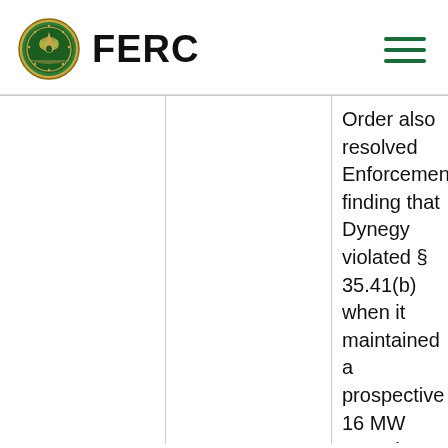FERC
Order also resolved Enforcement's finding that Dynegy violated § 35.41(b) when it maintained a prospective 16 MW capacity increase for Armstrong, one of the three dual-fuel unit facilities, based on (a) unit